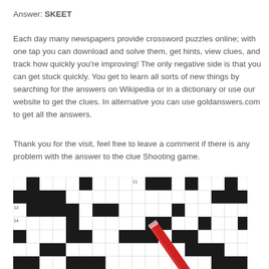Answer: SKEET
Each day many newspapers provide crossword puzzles online; with one tap you can download and solve them, get hints, view clues, and track how quickly you're improving! The only negative side is that you can get stuck quickly. You get to learn all sorts of new things by searching for the answers on Wikipedia or in a dictionary or use our website to get the clues. In alternative you can use goldanswers.com to get all the answers.
Thank you for the visit, feel free to leave a comment if there is any problem with the answer to the clue Shooting game.
[Figure (photo): A crossword puzzle grid in black and white with numbered squares, and a red pencil resting diagonally across the grid.]